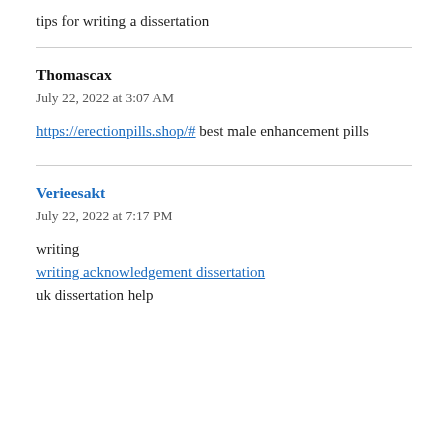tips for writing a dissertation
Thomascax
July 22, 2022 at 3:07 AM
https://erectionpills.shop/# best male enhancement pills
Verieesakt
July 22, 2022 at 7:17 PM
writing
writing acknowledgement dissertation
uk dissertation help